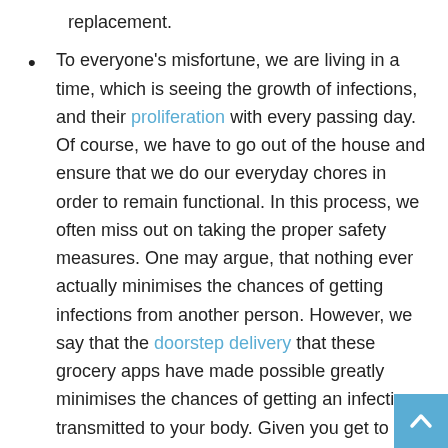replacement.
To everyone's misfortune, we are living in a time, which is seeing the growth of infections, and their proliferation with every passing day. Of course, we have to go out of the house and ensure that we do our everyday chores in order to remain functional. In this process, we often miss out on taking the proper safety measures. One may argue, that nothing ever actually minimises the chances of getting infections from another person. However, we say that the doorstep delivery that these grocery apps have made possible greatly minimises the chances of getting an infection transmitted to your body. Given you get to avoid the market area, which daily sees a conglomeration of a huge number of people who purchase their everyday needs, you are also, by and large, avoiding the germs that loiter around the air from casual coughs or sneezes. We know, that desperate times need desperate measures